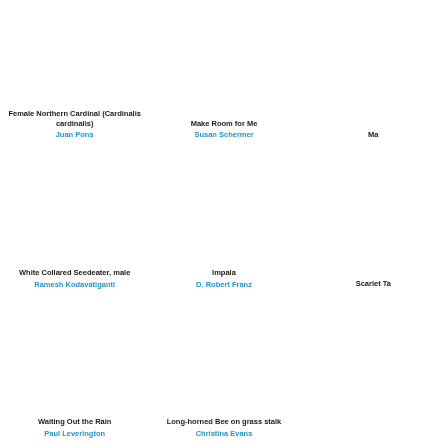[Figure (photo): Female Northern Cardinal bird photo]
Female Northern Cardinal (Cardinalis cardinalis)
Juan Pons
[Figure (photo): Make Room for Me photo]
Make Room for Me
Susan Schermer
[Figure (photo): Partial photo cut off at right edge]
Ma...
[Figure (photo): White Collared Seedeater male bird photo]
White Collared Seedeater, male
Ramesh Kodavatiganti
[Figure (photo): Impala photo]
Impala
D. Robert Franz
[Figure (photo): Scarlet Tanager partial photo cut off at right edge]
Scarlet Ta...
[Figure (photo): Waiting Out the Rain photo]
Waiting Out the Rain
Paul Leverington
[Figure (photo): Long-horned Bee on grass stalk photo]
Long-horned Bee on grass stalk
Christina Evans
[Figure (photo): Partial photo cut off at right edge, bottom row]